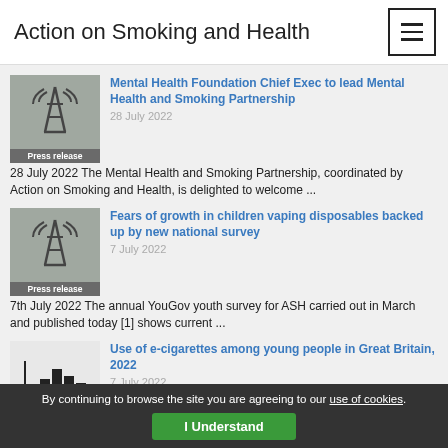Action on Smoking and Health
Mental Health Foundation Chief Exec to lead Mental Health and Smoking Partnership
28 July 2022
28 July 2022 The Mental Health and Smoking Partnership, coordinated by Action on Smoking and Health, is delighted to welcome ...
Fears of growth in children vaping disposables backed up by new national survey
7 July 2022
7th July 2022 The annual YouGov youth survey for ASH carried out in March and published today [1] shows current ...
Use of e-cigarettes among young people in Great Britain, 2022
7 July 2022
This fact sheet examines the evolving youth use of e-cigarettes in Great Britain, in the context of
By continuing to browse the site you are agreeing to our use of cookies. I Understand